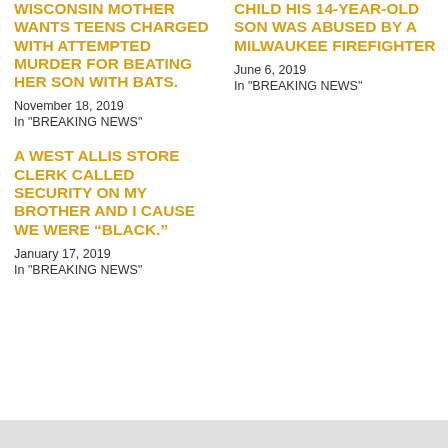WISCONSIN MOTHER WANTS TEENS CHARGED WITH ATTEMPTED MURDER FOR BEATING HER SON WITH BATS.
November 18, 2019
In "BREAKING NEWS"
A WEST ALLIS STORE CLERK CALLED SECURITY ON MY BROTHER AND I CAUSE WE WERE “BLACK.”
January 17, 2019
In "BREAKING NEWS"
CHILD HIS 14-YEAR-OLD SON WAS ABUSED BY A MILWAUKEE FIREFIGHTER
June 6, 2019
In "BREAKING NEWS"